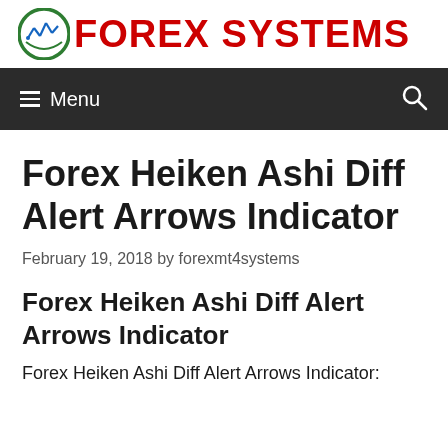[Figure (logo): SMT Forex Systems logo with circular emblem on the left and red bold text 'FOREX SYSTEMS' on the right]
Menu
Forex Heiken Ashi Diff Alert Arrows Indicator
February 19, 2018 by forexmt4systems
Forex Heiken Ashi Diff Alert Arrows Indicator
Forex Heiken Ashi Diff Alert Arrows Indicator: